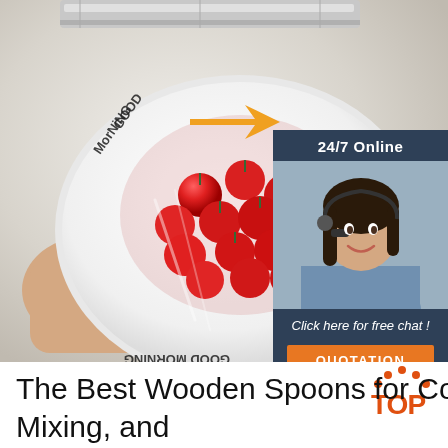[Figure (photo): A hand holding a white plate labeled 'GOOD MORNING' covered with cherry tomatoes under plastic wrap, with a plastic wrap dispenser above. A 24/7 online customer service sidebar ad with a female agent wearing a headset is overlaid on the right side, with an orange arrow pointing to it. An orange 'TOP' logo appears at bottom right.]
The Best Wooden Spoons for Cooking, Mixing, and